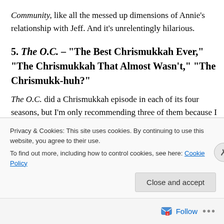Community, like all the messed up dimensions of Annie's relationship with Jeff. And it's unrelentingly hilarious.
5. The O.C. – "The Best Chrismukkah Ever," "The Chrismukkah That Almost Wasn't," "The Chrismukk-huh?"
The O.C. did a Chrismukkah episode in each of its four seasons, but I'm only recommending three of them because I can barely remember the events of "The Chrismukkah Bar Mitzvah-kah" (beyond the fact that there was a Bar Mitzvah). The other three episodes are each
Privacy & Cookies: This site uses cookies. By continuing to use this website, you agree to their use.
To find out more, including how to control cookies, see here: Cookie Policy
Close and accept
Follow ···